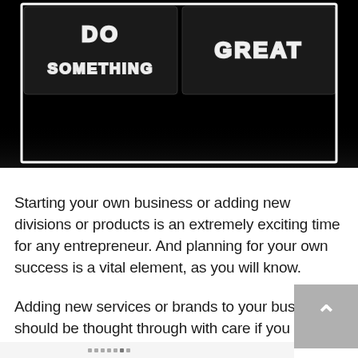[Figure (photo): A neon sign reading 'DO SOMETHING GREAT' in white neon letters on a dark/black background, partially visible at the top of the page.]
Starting your own business or adding new divisions or products is an extremely exciting time for any entrepreneur. And planning for your own success is a vital element, as you will know.
Adding new services or brands to your business should be thought through with care if you want to ensure they fit with the overall brand and message you already share. Some tweaking might be necessary to the original business now that we're blink... daylight